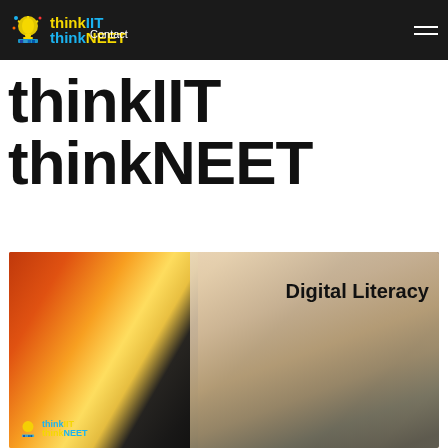thinkIIT thinkNEET | Contact
thinkIIT thinkNEET
[Figure (photo): Digital Literacy banner image showing a laptop with colorful screen glow on the left and a hand using a stylus on a drawing tablet on the right, with 'Digital Literacy' text overlay and thinkIIT thinkNEET logo watermark at bottom left]